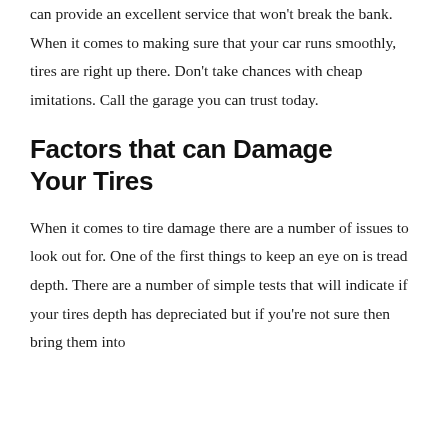can provide an excellent service that won't break the bank. When it comes to making sure that your car runs smoothly, tires are right up there. Don't take chances with cheap imitations. Call the garage you can trust today.
Factors that can Damage Your Tires
When it comes to tire damage there are a number of issues to look out for. One of the first things to keep an eye on is tread depth. There are a number of simple tests that will indicate if your tires depth has depreciated but if you're not sure then bring them into